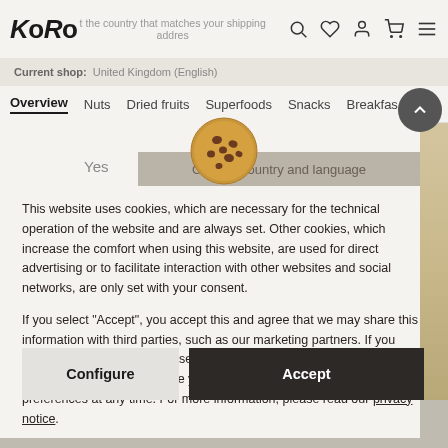KoRo
Current shop: United Kingdom (English)
Overview  Nuts  Dried fruits  Superfoods  Snacks  Breakfast
[Figure (illustration): Cookie emoji icon (chocolate chip cookie)]
Yes   Change country and language
This website uses cookies, which are necessary for the technical operation of the website and are always set. Other cookies, which increase the comfort when using this website, are used for direct advertising or to facilitate interaction with other websites and social networks, are only set with your consent.

If you select "Accept", you accept this and agree that we may share this information with third parties, such as our marketing partners. If you deny we will use only the essential cookies. Select Configure for further details and to manage your options. You can adjust your preferences at any time. For more information, please read our privacy notice.
Configure
Accept